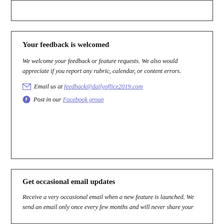Your feedback is welcomed
We welcome your feedback or feature requests. We also would appreciate if you report any rubric, calendar, or content errors.
Email us at feedback@dailyoffice2019.com
Post in our Facebook group
Get occasional email updates
Receive a very occasional email when a new feature is launched. We send an email only once every few months and will never share your